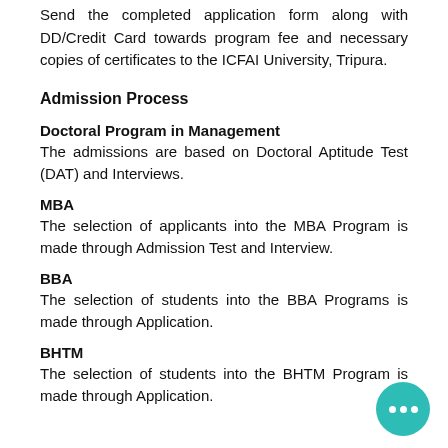Send the completed application form along with DD/Credit Card towards program fee and necessary copies of certificates to the ICFAI University, Tripura.
Admission Process
Doctoral Program in Management
The admissions are based on Doctoral Aptitude Test (DAT) and Interviews.
MBA
The selection of applicants into the MBA Program is made through Admission Test and Interview.
BBA
The selection of students into the BBA Programs is made through Application.
BHTM
The selection of students into the BHTM Program is made through Application.